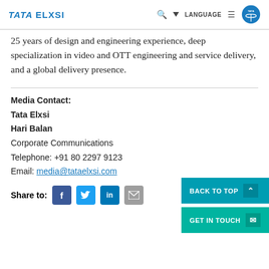TATA ELXSI — navigation bar with search, language, menu and Tata logo
25 years of design and engineering experience, deep specialization in video and OTT engineering and service delivery, and a global delivery presence.
Media Contact:
Tata Elxsi
Hari Balan
Corporate Communications
Telephone: +91 80 2297 9123
Email: media@tataelxsi.com
Share to: [Facebook] [Twitter] [LinkedIn] [Email]